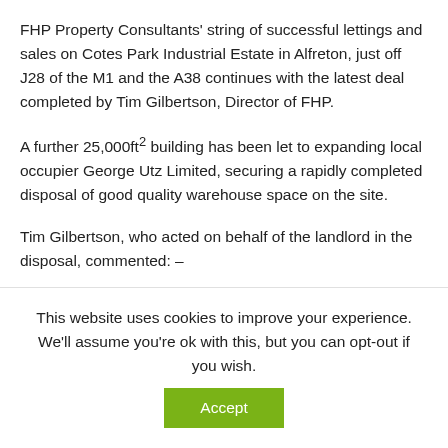FHP Property Consultants' string of successful lettings and sales on Cotes Park Industrial Estate in Alfreton, just off J28 of the M1 and the A38 continues with the latest deal completed by Tim Gilbertson, Director of FHP.
A further 25,000ft² building has been let to expanding local occupier George Utz Limited, securing a rapidly completed disposal of good quality warehouse space on the site.
Tim Gilbertson, who acted on behalf of the landlord in the disposal, commented: –
“It was a pleasure to deal with George Utz and to help with their
This website uses cookies to improve your experience. We'll assume you're ok with this, but you can opt-out if you wish.